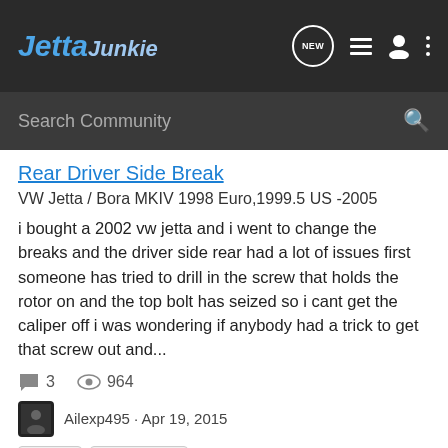Jetta Junkie
Rear Driver Side Break
VW Jetta / Bora MKIV 1998 Euro,1999.5 US -2005
i bought a 2002 vw jetta and i went to change the breaks and the driver side rear had a lot of issues first someone has tried to drill in the screw that holds the rotor on and the top bolt has seized so i cant get the caliper off i was wondering if anybody had a trick to get that screw out and...
3   964
Ailexp495 · Apr 19, 2015
brakes
rear brakes
Newbee nees a Brake!!
INTRODUCTIONS - VW JETTA OWNERS & ENTHUSIASTS